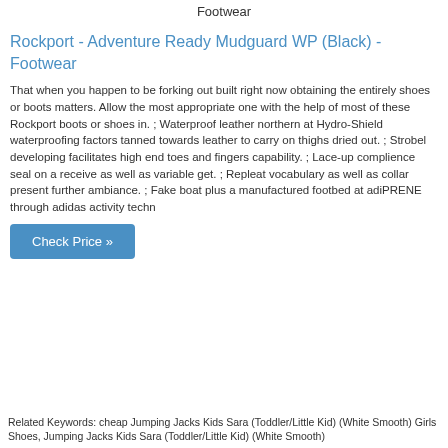Footwear
Rockport - Adventure Ready Mudguard WP (Black) - Footwear
That when you happen to be forking out built right now obtaining the entirely shoes or boots matters. Allow the most appropriate one with the help of most of these Rockport boots or shoes in. ; Waterproof leather northern at Hydro-Shield waterproofing factors tanned towards leather to carry on thighs dried out. ; Strobel developing facilitates high end toes and fingers capability. ; Lace-up complience seal on a receive as well as variable get. ; Repleat vocabulary as well as collar present further ambiance. ; Fake boat plus a manufactured footbed at adiPRENE through adidas activity techn
Check Price »
Related Keywords: cheap Jumping Jacks Kids Sara (Toddler/Little Kid) (White Smooth) Girls Shoes, Jumping Jacks Kids Sara (Toddler/Little Kid) (White Smooth)